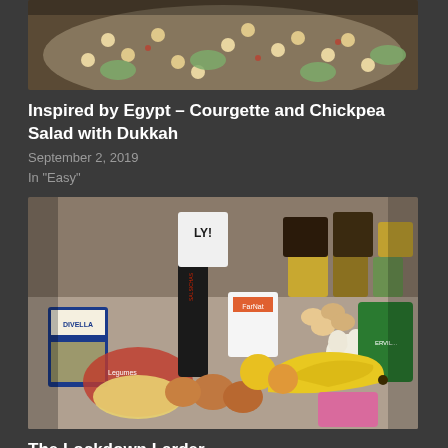[Figure (photo): Top portion of a courgette and chickpea salad dish with zucchini, chickpeas and spices visible]
Inspired by Egypt – Courgette and Chickpea Salad with Dukkah
September 2, 2019
In "Easy"
[Figure (photo): A collection of grocery items including pasta, legumes, eggs, bananas, onions, lemons, canned goods, and fresh produce spread on a table — The Lockdown Larder]
The Lockdown Larder
March 25, 2020
In "Food"